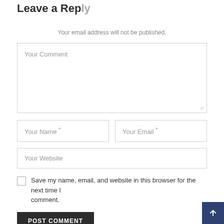Leave a Reply
Your email address will not be published.
Your Comment
Your Name *
Your Email *
Your Website
Save my name, email, and website in this browser for the next time I comment.
POST COMMENT